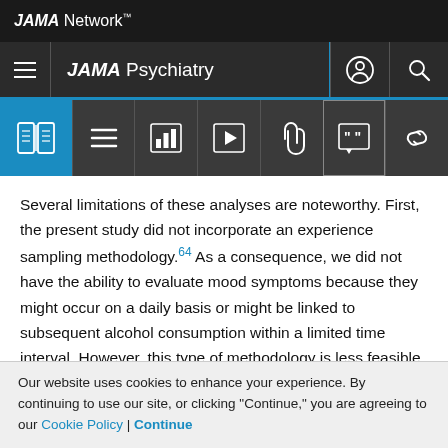JAMA Network
JAMA Psychiatry
[Figure (screenshot): JAMA Network article toolbar with icons: book/table of contents, list, bar chart, video play, paperclip/link, quote/citation, chain link]
Several limitations of these analyses are noteworthy. First, the present study did not incorporate an experience sampling methodology.64 As a consequence, we did not have the ability to evaluate mood symptoms because they might occur on a daily basis or might be linked to subsequent alcohol consumption within a limited time interval. However, this type of methodology is less feasible when attempting to link behavior changes over
Our website uses cookies to enhance your experience. By continuing to use our site, or clicking "Continue," you are agreeing to our Cookie Policy | Continue